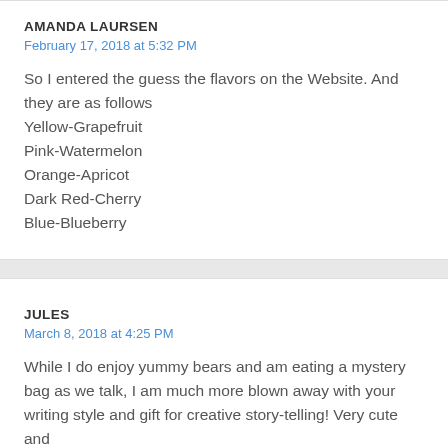AMANDA LAURSEN
February 17, 2018 at 5:32 PM
So I entered the guess the flavors on the Website. And they are as follows
Yellow-Grapefruit
Pink-Watermelon
Orange-Apricot
Dark Red-Cherry
Blue-Blueberry
JULES
March 8, 2018 at 4:25 PM
While I do enjoy yummy bears and am eating a mystery bag as we talk, I am much more blown away with your writing style and gift for creative story-telling! Very cute and